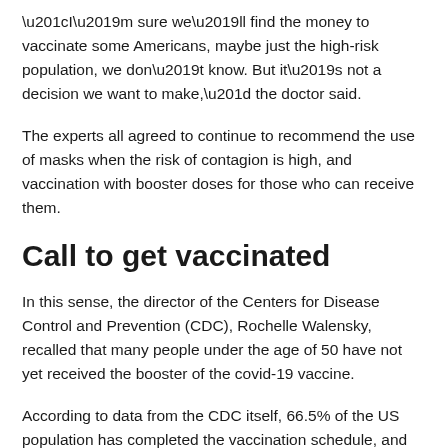“I’m sure we’ll find the money to vaccinate some Americans, maybe just the high-risk population, we don’t know. But it’s not a decision we want to make,” the doctor said.
The experts all agreed to continue to recommend the use of masks when the risk of contagion is high, and vaccination with booster doses for those who can receive them.
Call to get vaccinated
In this sense, the director of the Centers for Disease Control and Prevention (CDC), Rochelle Walensky, recalled that many people under the age of 50 have not yet received the booster of the covid-19 vaccine.
According to data from the CDC itself, 66.5% of the US population has completed the vaccination schedule, and only 46.4